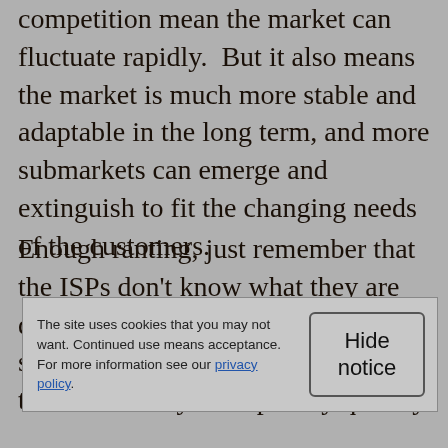competition mean the market can fluctuate rapidly. But it also means the market is much more stable and adaptable in the long term, and more submarkets can emerge and extinguish to fit the changing needs of the customers.
Enough ranting, just remember that the ISPs don't know what they are doing, keep your friends and family safe from them. Private police tend to become very corrupt very quickly.
The site uses cookies that you may not want. Continued use means acceptance. For more information see our privacy policy.